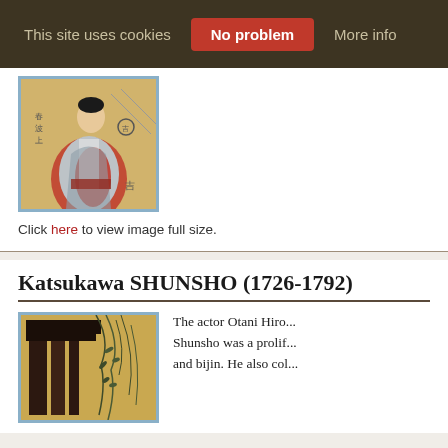This site uses cookies  No problem  More info
[Figure (photo): Japanese woodblock print showing a woman in a red and grey kimono, with Japanese text characters visible]
Click here to view image full size.
Katsukawa SHUNSHO (1726-1792)
[Figure (photo): Japanese woodblock print showing architectural elements with bamboo or willow branches]
The actor Otani Hiro... Shunsho was a prolif... and bijin. He also col...